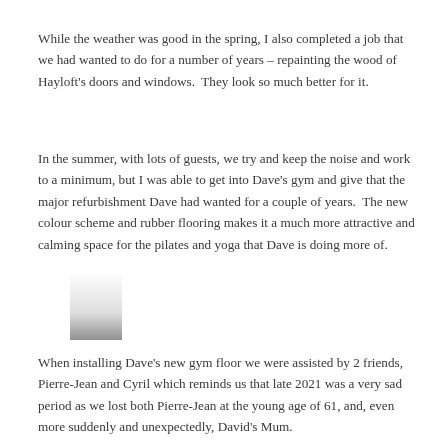While the weather was good in the spring, I also completed a job that we had wanted to do for a number of years – repainting the wood of Hayloft's doors and windows.  They look so much better for it.
In the summer, with lots of guests, we try and keep the noise and work to a minimum, but I was able to get into Dave's gym and give that the major refurbishment Dave had wanted for a couple of years.  The new colour scheme and rubber flooring makes it a much more attractive and calming space for the pilates and yoga that Dave is doing more of.
[Figure (photo): A small partially visible image, appears to be a grayscale/faded photograph, mostly white with a dark gradient element visible at the bottom left.]
When installing Dave's new gym floor we were assisted by 2 friends, Pierre-Jean and Cyril which reminds us that late 2021 was a very sad period as we lost both Pierre-Jean at the young age of 61, and, even more suddenly and unexpectedly, David's Mum.
Remembering the 11th or Terrible March the year...